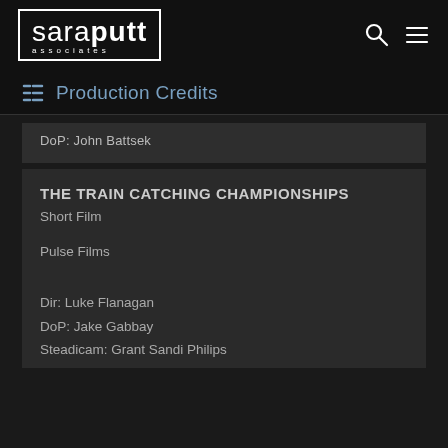saraputt associates
Production Credits
DoP: John Battsek
THE TRAIN CATCHING CHAMPIONSHIPS
Short Film
Pulse Films
Dir: Luke Flanagan
DoP: Jake Gabbay
Steadicam: Grant Sandi Philips